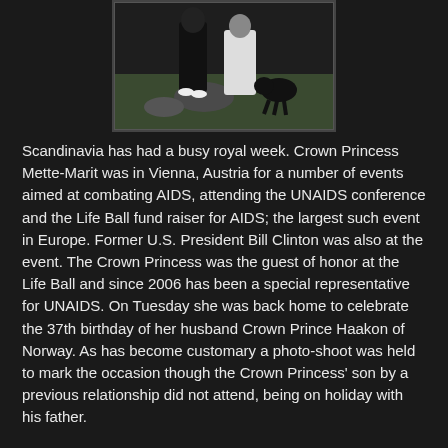[Figure (photo): Photo of people outdoors, partially visible at top of page, showing figures in dark and white clothing against a grassy/rocky background]
Scandinavia has had a busy royal week. Crown Princess Mette-Marit was in Vienna, Austria for a number of events aimed at combating AIDS, attending the UNAIDS conference and the Life Ball fund raiser for AIDS; the largest such event in Europe. Former U.S. President Bill Clinton was also at the event. The Crown Princess was the guest of honor at the Life Ball and since 2006 has been a special representative for UNAIDS. On Tuesday she was back home to celebrate the 37th birthday of her husband Crown Prince Haakon of Norway. As has become customary a photo-shoot was held to mark the occasion though the Crown Princess' son by a previous relationship did not attend, being on holiday with his father.
As has been reported here already, on July 21 the Kingdom of Belgium celebrated its National Day marking 180 years of independence since King Leopold I was sworn in as the first King of the Belgians. All the royal family were in attendance